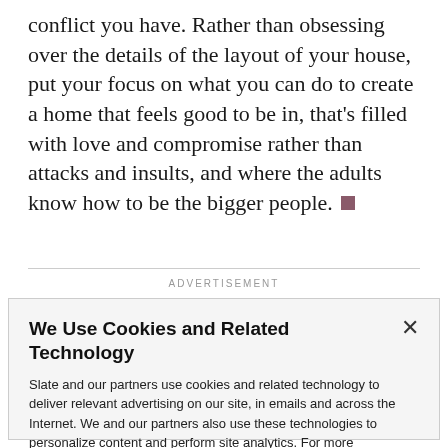conflict you have. Rather than obsessing over the details of the layout of your house, put your focus on what you can do to create a home that feels good to be in, that's filled with love and compromise rather than attacks and insults, and where the adults know how to be the bigger people.
ADVERTISEMENT
We Use Cookies and Related Technology
Slate and our partners use cookies and related technology to deliver relevant advertising on our site, in emails and across the Internet. We and our partners also use these technologies to personalize content and perform site analytics. For more information, see our terms and privacy policy.  Privacy Policy
OK